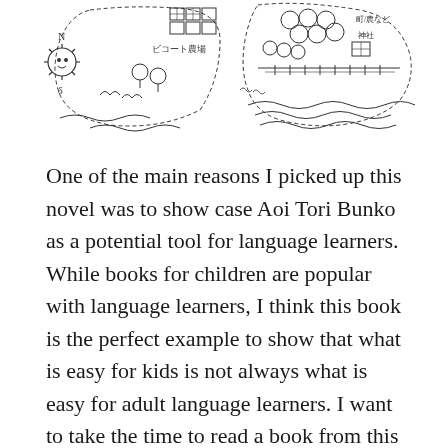[Figure (illustration): Hand-drawn map illustrations showing two areas. Left side: a sun/compass rose with N marker, buildings labeled in Japanese (ビコート農場), trees, and other features with dotted boundaries. Right side: another map area with trees, buildings, Japanese text labels, a road/path, and landscape features.]
One of the main reasons I picked up this novel was to show case Aoi Tori Bunko as a potential tool for language learners. While books for children are popular with language learners, I think this book is the perfect example to show that what is easy for kids is not always what is easy for adult language learners. I want to take the time to read a book from this publication to show what features might make great language tools and point out areas that might cause difficulties. Previous, I wrote in detail about Tsubasa Bunko here when I wrote a review for